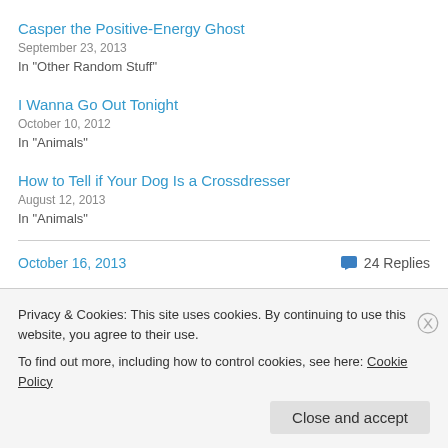Casper the Positive-Energy Ghost
September 23, 2013
In "Other Random Stuff"
I Wanna Go Out Tonight
October 10, 2012
In "Animals"
How to Tell if Your Dog Is a Crossdresser
August 12, 2013
In "Animals"
October 16, 2013  💬 24 Replies
Privacy & Cookies: This site uses cookies. By continuing to use this website, you agree to their use.
To find out more, including how to control cookies, see here: Cookie Policy
Close and accept